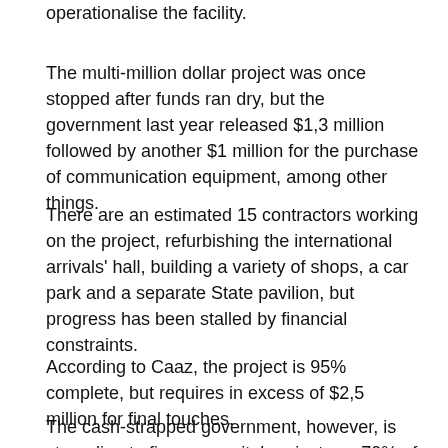operationalise the facility.
The multi-million dollar project was once stopped after funds ran dry, but the government last year released $1,3 million followed by another $1 million for the purchase of communication equipment, among other things.
There are an estimated 15 contractors working on the project, refurbishing the international arrivals' hall, building a variety of shops, a car park and a separate State pavilion, but progress has been stalled by financial constraints.
According to Caaz, the project is 95% complete, but requires in excess of $2,5 million for final touches.
The cash-strapped government, however, is struggling to finance capital projects as 70% of the budget is swallowed by civil servants' salaries.